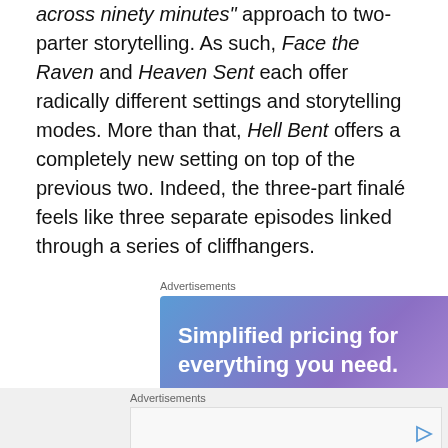across ninety minutes" approach to two-parter storytelling. As such, Face the Raven and Heaven Sent each offer radically different settings and storytelling modes. More than that, Hell Bent offers a completely new setting on top of the previous two. Indeed, the three-part finalé feels like three separate episodes linked through a series of cliffhangers.
Heaven Sent is very much a classic episode of Doctor Who, by just about any measure.
Advertisements
[Figure (other): Advertisement banner with gradient blue-purple background reading 'Simplified pricing for everything you need.']
Advertisements
[Figure (other): Second advertisement banner placeholder with play button icon]